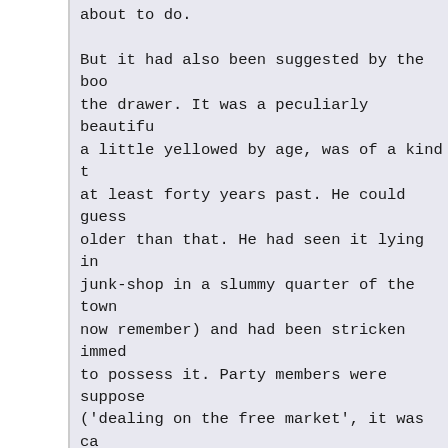about to do.

But it had also been suggested by the boo the drawer. It was a peculiarly beautifu a little yellowed by age, was of a kind t at least forty years past. He could guess older than that. He had seen it lying in junk-shop in a slummy quarter of the town now remember) and had been stricken immed to possess it. Party members were suppose ('dealing on the free market', it was ca strictly kept, because there were various razor blades, which it was impossible to had given a quick glance up and down the and bought the book for two dollars fifty of wanting it for any particular purpose in his briefcase. Even with nothing writh possession.